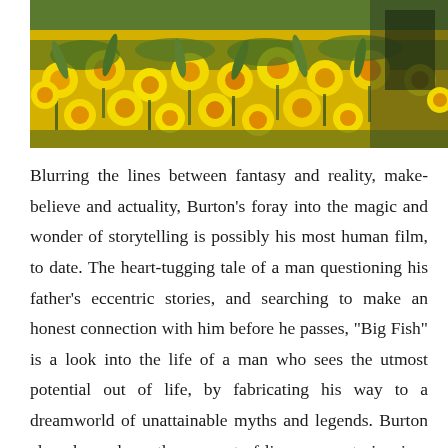[Figure (photo): A photograph of yellow daffodil flowers in bloom, with green stems and foliage, and a partially visible person in the background on the right side.]
Blurring the lines between fantasy and reality, make-believe and actuality, Burton's foray into the magic and wonder of storytelling is possibly his most human film, to date. The heart-tugging tale of a man questioning his father's eccentric stories, and searching to make an honest connection with him before he passes, "Big Fish" is a look into the life of a man who sees the utmost potential out of life, by fabricating his way to a dreamworld of unattainable myths and legends. Burton cleverly explores the concept of lies versus stories, in a truly enchanting tightrope-walk between imagination and authenticity. Ewan McGregor and Albert Finney take on the double role of Edward Bloom, the daydreaming father, in his